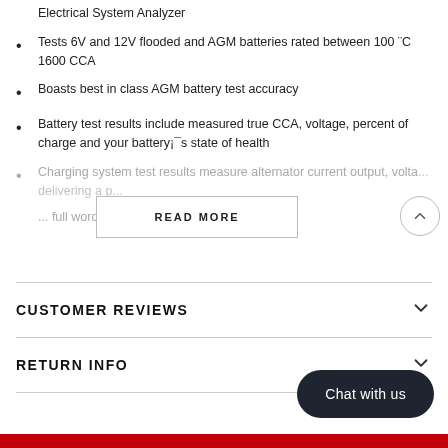as well as detect bad cells, with an Autometer Intelligent Electrical System Analyzer
Tests 6V and 12V flooded and AGM batteries rated between 100 ¨C 1600 CCA
Boasts best in class AGM battery test accuracy
Battery test results include measured true CCA, voltage, percent of charge and your battery¡¯s state of health
Charging system test results measure alternator current output, volta... delivering a p... as full words
CUSTOMER REVIEWS
RETURN INFO